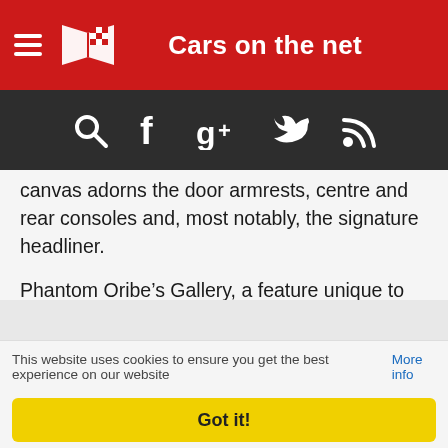Cars on the net
canvas adorns the door armrests, centre and rear consoles and, most notably, the signature headliner.
Phantom Oribe’s Gallery, a feature unique to Rolls-Royce that runs the length of the motor car’s fascia, features an artwork based on a design by the celebrated French artist and illustrator Pierre Péron (1905–1988), who created many of Hermès’ iconic scarves. The work, inspired by the famous Hermès
This website uses cookies to ensure you get the best experience on our website More info
Got it!